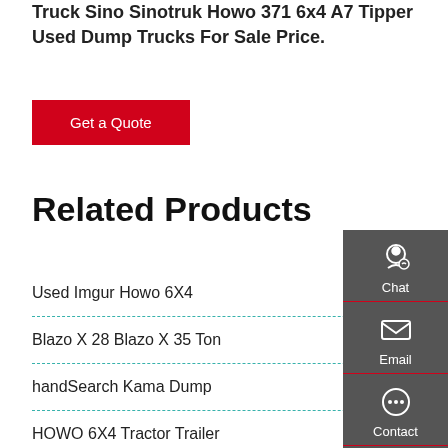Truck Sino Sinotruk Howo 371 6x4 A7 Tipper Used Dump Trucks For Sale Price.
Get a Quote
Related Products
Used Imgur Howo 6X4
China HOWO 14cbm Left
Blazo X 28 Blazo X 35 Ton
China UHMWPE Dump
handSearch Kama Dump
J5m Single Axles 6x4
HOWO 6X4 Tractor Trailer
Used Howo -8 4 Dump